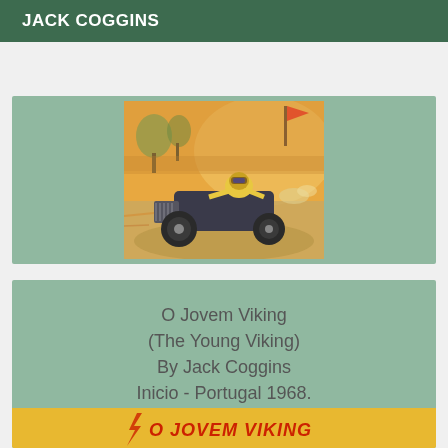JACK COGGINS
[Figure (illustration): Painting of an early vintage race car with driver in yellow, speeding along a track with crowd in background, orange/warm toned illustration]
O Jovem Viking
(The Young Viking)
By Jack Coggins
Inicio - Portugal 1968.
[Figure (photo): Book cover strip showing 'O JOVEM VIKING' text in red italic on yellow/orange background]